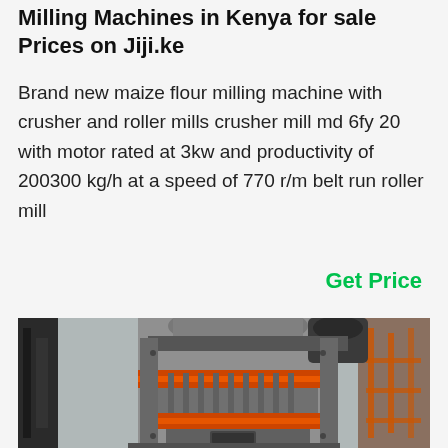Milling Machines in Kenya for sale Prices on Jiji.ke
Brand new maize flour milling machine with crusher and roller mills crusher mill md 6fy 20 with motor rated at 3kw and productivity of 200300 kg/h at a speed of 770 r/m belt run roller mill
Get Price
[Figure (photo): Photo of an industrial milling machine in grey metal with orange belt/band elements, shown in a factory/warehouse setting]